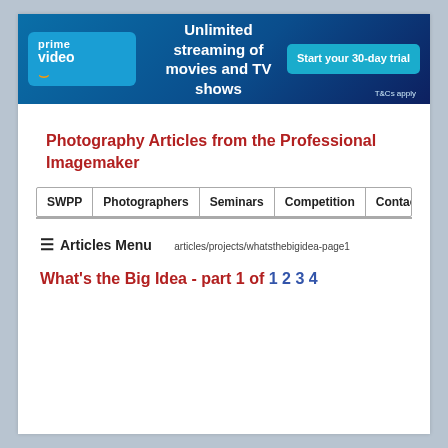[Figure (infographic): Amazon Prime Video banner advertisement: 'Unlimited streaming of movies and TV shows. Start your 30-day trial. T&Cs apply.']
Photography Articles from the Professional Imagemaker
| SWPP | Photographers | Seminars | Competition | Contact | Join |
| --- | --- | --- | --- | --- | --- |
☰ Articles Menu
articles/projects/whatsthebigidea-page1
What's the Big Idea - part 1 of 1 2 3 4